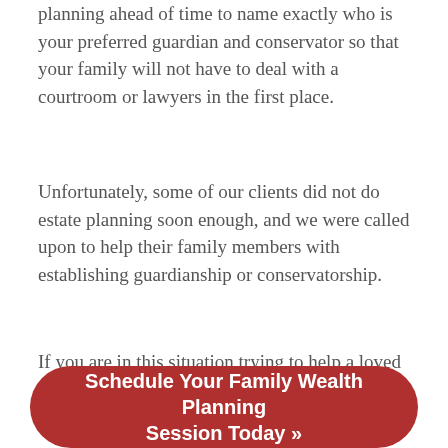planning ahead of time to name exactly who is your preferred guardian and conservator so that your family will not have to deal with a courtroom or lawyers in the first place.
Unfortunately, some of our clients did not do estate planning soon enough, and we were called upon to help their family members with establishing guardianship or conservatorship.
If you are in this situation trying to help a loved one, we can help.
Schedule Your Family Wealth Planning Session Today »